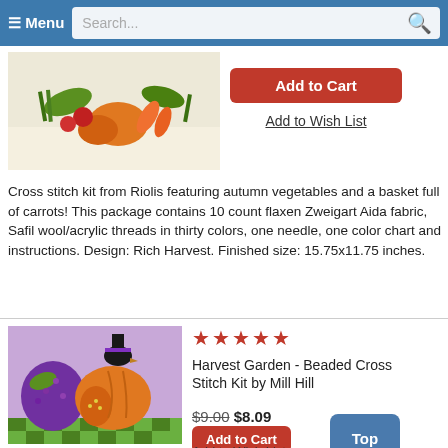≡ Menu   Search...
[Figure (photo): Cross stitch embroidery of autumn vegetables including carrots, tomatoes, pumpkins and greens on a light background]
Add to Cart
Add to Wish List
Cross stitch kit from Riolis featuring autumn vegetables and a basket full of carrots! This package contains 10 count flaxen Zweigart Aida fabric, Safil wool/acrylic threads in thirty colors, one needle, one color chart and instructions. Design: Rich Harvest. Finished size: 15.75x11.75 inches.
[Figure (photo): Beaded cross stitch of a harvest garden scene with purple eggplant, orange pumpkin and a black crow wearing a witch hat on a checkered green background]
★★★★★
Harvest Garden - Beaded Cross Stitch Kit by Mill Hill
$9.00 $8.09
Add to Cart
Top
Add to Wish List